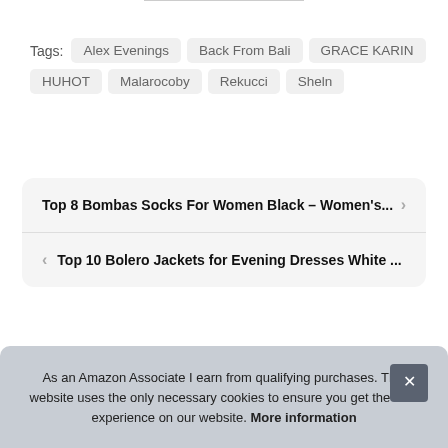Tags: Alex Evenings Back From Bali GRACE KARIN HUHOT Malarocoby Rekucci Sheln
Top 8 Bombas Socks For Women Black – Women's...
Top 10 Bolero Jackets for Evening Dresses White ...
As an Amazon Associate I earn from qualifying purchases. This website uses the only necessary cookies to ensure you get the best experience on our website. More information